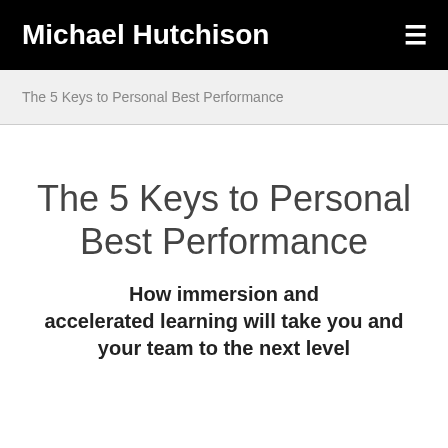Michael Hutchison
The 5 Keys to Personal Best Performance
The 5 Keys to Personal Best Performance
How immersion and accelerated learning will take you and your team to the next level